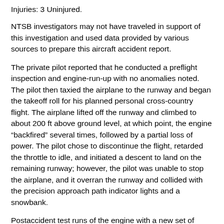Injuries: 3 Uninjured.
NTSB investigators may not have traveled in support of this investigation and used data provided by various sources to prepare this aircraft accident report.
The private pilot reported that he conducted a preflight inspection and engine-run-up with no anomalies noted. The pilot then taxied the airplane to the runway and began the takeoff roll for his planned personal cross-country flight. The airplane lifted off the runway and climbed to about 200 ft above ground level, at which point, the engine “backfired” several times, followed by a partial loss of power. The pilot chose to discontinue the flight, retarded the throttle to idle, and initiated a descent to land on the remaining runway; however, the pilot was unable to stop the airplane, and it overran the runway and collided with the precision approach path indicator lights and a snowbank.
Postaccident test runs of the engine with a new set of magnetos and the original ignition harness revealed that the likely cause of the loss of engine power was related to the